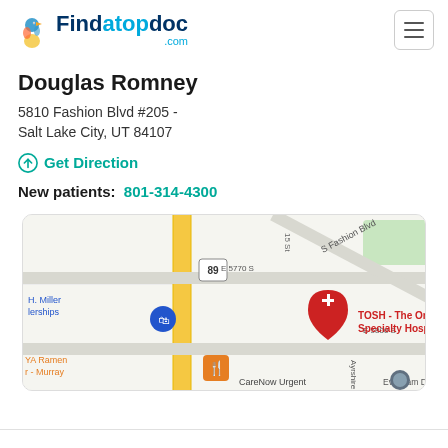Findatopdoc.com
Douglas Romney
5810 Fashion Blvd #205 -
Salt Lake City, UT 84107
Get Direction
New patients: 801-314-4300
[Figure (map): Google map showing location near 5800 S Fashion Blvd, Salt Lake City, UT. Shows TOSH - The Orthopedic Specialty Hospital pin in red, route 89 marker, E 5770 S and E 5800 S streets, H. Miller lerships, YA Ramen Murray, CareNow Urgent care labels. Ayrshire and Evesham Dr streets visible.]